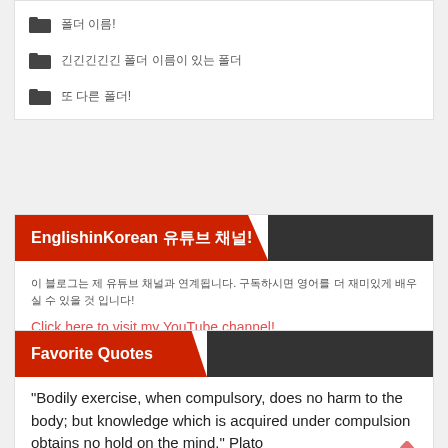폴더 이름!
긴긴긴긴긴 폴더 이름이 있는 폴더
또 다른 폴더!
EnglishinKorean 유튜브 채널!
이 블로그는 제 유튜브 채널과 연계됩니다. 구독하시면 영어를 더 재미있게 배우실 수 있을 것 입니다!
Click here to visit my YouTube channel!
Favorite Quotes
"Bodily exercise, when compulsory, does no harm to the body; but knowledge which is acquired under compulsion obtains no hold on the mind." Plato
몸에 강요된 운동은 몸에 해를 끼치지 않지만 강요 아래 얻은 지식은 마음에 자리잡지 못 한 다